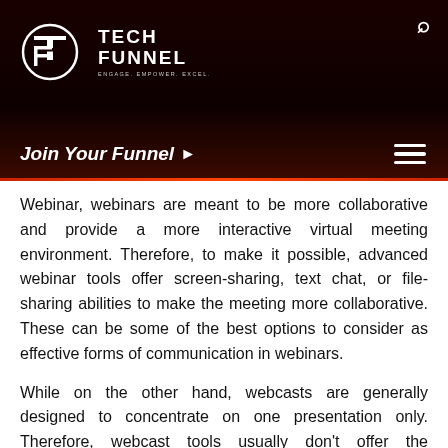TechFunnel — ENGAGE. EMPOWER. EXCEL.
Join Your Funnel ▶
Webinar, webinars are meant to be more collaborative and provide a more interactive virtual meeting environment. Therefore, to make it possible, advanced webinar tools offer screen-sharing, text chat, or file-sharing abilities to make the meeting more collaborative. These can be some of the best options to consider as effective forms of communication in webinars.
While on the other hand, webcasts are generally designed to concentrate on one presentation only. Therefore, webcast tools usually don't offer the interactive communication features that you